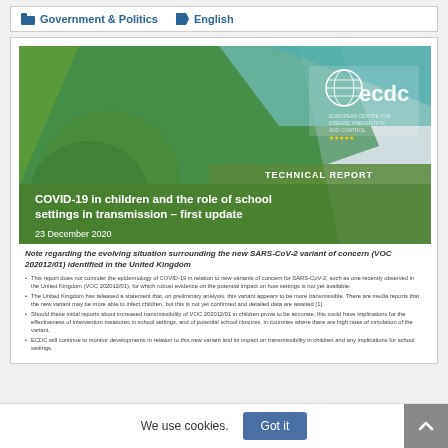Government & Politics | English
[Figure (screenshot): ECDC Technical Report cover page: COVID-19 in children and the role of school settings in transmission – first update, 23 December 2020. Green and teal diagonal design with ECDC logo. Below the cover is a note about the evolving situation surrounding the new SARS-CoV-2 variant of concern (VOC 202012/01) identified in the United Kingdom, with bullet points.]
Note regarding the evolving situation surrounding the new SARS-CoV-2 variant of concern (VOC 202012/01) identified in the United Kingdom
This report does not consider the epidemiology of COVID-19 in relation to new variants of concern for SARS-CoV-2, such as one recently observed in the United Kingdom (VOC 202012/01), for which robust evidence on the potential impact on how settings is not yet available.
The United Kingdom has released a statement that, on preliminary analysis, this variant appears to be more transmissible. There are media reports that the new variant may be more able to infect children, but this is not yet confirmed and detailed data are awaited (1).
Should these initial reports about increased transmissibility of VOC 202012/01 in children prove to be accurate, this could have implications for the effectiveness of intervention measures in school settings, and of potential school closures, in countries where there are high rates of circulation of the variant.
ECDC will continue to monitor developments in relation to this new variant and its impact on transmissibility in children and any implications for school settings.
We use cookies.